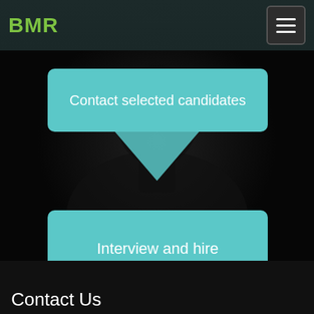BMR
Contact selected candidates
[Figure (illustration): Dark background with silhouette of a person in tactical/military gear, partially visible, dimly lit against a black background]
Interview and hire
Contact Us